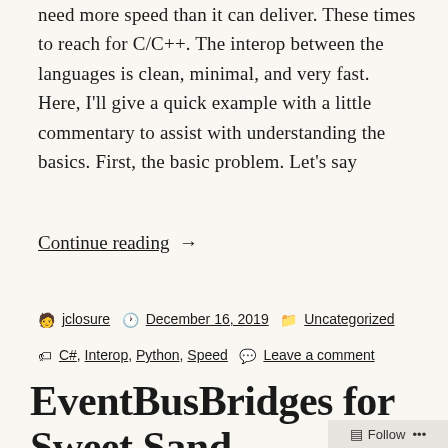need more speed than it can deliver. These times to reach for C/C++. The interop between the languages is clean, minimal, and very fast. Here, I'll give a quick example with a little commentary to assist with understanding the basics. First, the basic problem. Let's say
Continue reading  →
By jclosure  December 16, 2019  Uncategorized
C#, Interop, Python, Speed  Leave a comment
EventBusBridges for Sweet Sand...
Follow